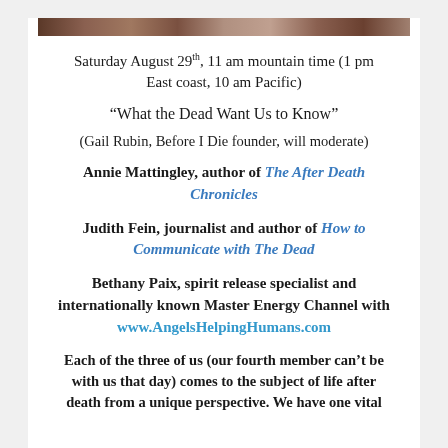[Figure (photo): Photo strip at top showing people]
Saturday August 29th, 11 am mountain time (1 pm East coast, 10 am Pacific)
“What the Dead Want Us to Know”
(Gail Rubin, Before I Die founder, will moderate)
Annie Mattingley, author of The After Death Chronicles
Judith Fein, journalist and author of How to Communicate with The Dead
Bethany Paix, spirit release specialist and internationally known Master Energy Channel with www.AngelsHelpingHumans.com
Each of the three of us (our fourth member can’t be with us that day) comes to the subject of life after death from a unique perspective. We have one vital